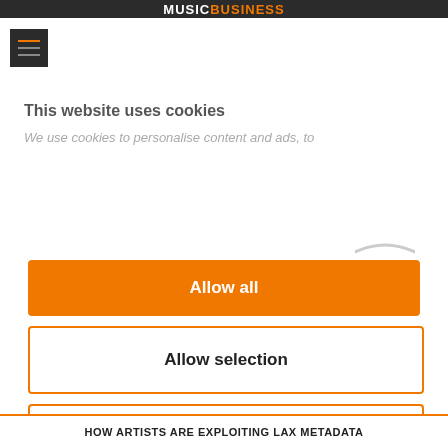MUSICBUSINESS
[Figure (logo): Hamburger menu icon with dark background and orange/gray stripes]
This website uses cookies
We use cookies to personalise content and ads, to
Allow all
Allow selection
Deny
Powered by Cookiebot by Usercentrics
HOW ARTISTS ARE EXPLOITING LAX METADATA